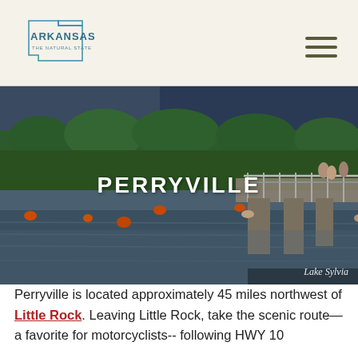Arkansas The Natural State
[Figure (photo): Lake scene with people swimming near an old stone bridge/dam, orange buoys in the water, dense green forested hills in background. Text overlay reads PERRYVILLE. Caption: Lake Sylvia.]
Perryville is located approximately 45 miles northwest of Little Rock. Leaving Little Rock, take the scenic route—a favorite for motorcyclists-- following HWY 10